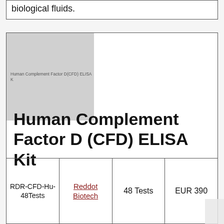biological fluids.
[Figure (photo): Product image placeholder showing 'Human Complement Factor D(CFD) ELISA Kit' label text on a grey background]
Human Complement Factor D (CFD) ELISA Kit
| Catalog | Brand | Size | Price |
| --- | --- | --- | --- |
| RDR-CFD-Hu-48Tests | Reddot Biotech | 48 Tests | EUR 390 |